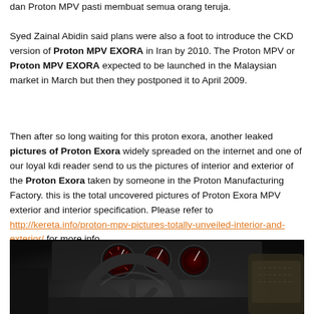dan Proton MPV pasti membuat semua orang teruja.
Syed Zainal Abidin said plans were also a foot to introduce the CKD version of Proton MPV EXORA in Iran by 2010. The Proton MPV or Proton MPV EXORA expected to be launched in the Malaysian market in March but then they postponed it to April 2009.
Then after so long waiting for this proton exora, another leaked pictures of Proton Exora widely spreaded on the internet and one of our loyal kdi reader send to us the pictures of interior and exterior of the Proton Exora taken by someone in the Proton Manufacturing Factory. this is the total uncovered pictures of Proton Exora MPV exterior and interior specification. Please refer to http://kereta.info/proton-mpv-pictures-totally-unveiled-interior-and-exterior/ for more info.
[Figure (photo): Interior photo of Proton Exora MPV showing steering wheel and dashboard with red-backlit gauges, taken inside the Proton Manufacturing Factory.]